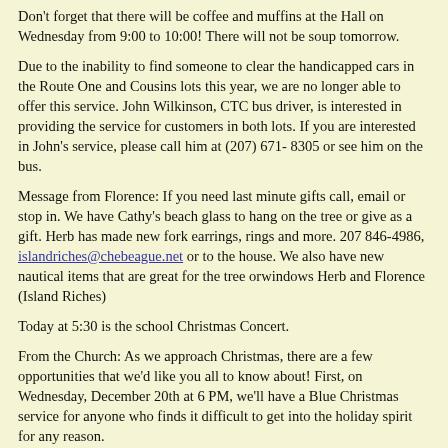Don't forget that there will be coffee and muffins at the Hall on Wednesday from 9:00 to 10:00! There will not be soup tomorrow.
Due to the inability to find someone to clear the handicapped cars in the Route One and Cousins lots this year, we are no longer able to offer this service. John Wilkinson, CTC bus driver, is interested in providing the service for customers in both lots. If you are interested in John's service, please call him at (207) 671- 8305 or see him on the bus.
Message from Florence: If you need last minute gifts call, email or stop in. We have Cathy's beach glass to hang on the tree or give as a gift. Herb has made new fork earrings, rings and more. 207 846-4986, islandriches@chebeague.net or to the house. We also have new nautical items that are great for the tree orwindows Herb and Florence (Island Riches)
Today at 5:30 is the school Christmas Concert.
From the Church: As we approach Christmas, there are a few opportunities that we'd like you all to know about! First, on Wednesday, December 20th at 6 PM, we'll have a Blue Christmas service for anyone who finds it difficult to get into the holiday spirit for any reason.
----Secondly, there are two opportunities to join us on Christmas Eve: on Christmas Eve morning, come over to the Parish House for